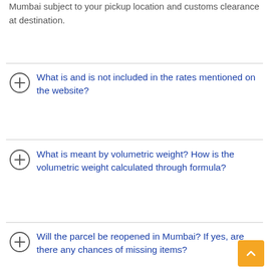Mumbai subject to your pickup location and customs clearance at destination.
What is and is not included in the rates mentioned on the website?
What is meant by volumetric weight? How is the volumetric weight calculated through formula?
Will the parcel be reopened in Mumbai? If yes, are there any chances of missing items?